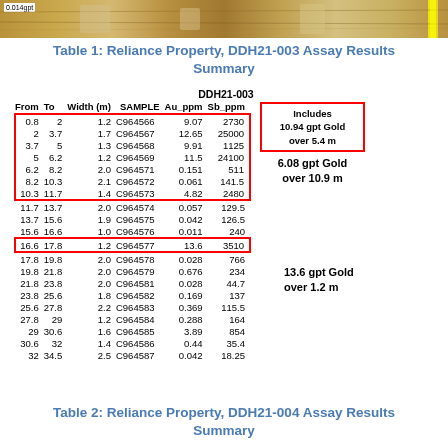[Figure (photo): Core sample photo with label '0.014gpt' and yellow marker strip on right]
Table 1: Reliance Property, DDH21-003 Assay Results Summary
| From | To | Width (m) | SAMPLE | Au_ppm | Sb_ppm |
| --- | --- | --- | --- | --- | --- |
| 0.8 | 2 | 1.2 | C964566 | 9.07 | 2730 |
| 2 | 3.7 | 1.7 | C964567 | 12.65 | 25000 |
| 3.7 | 5 | 1.3 | C964568 | 9.91 | 1125 |
| 5 | 6.2 | 1.2 | C964569 | 11.5 | 24100 |
| 6.2 | 8.2 | 2.0 | C964571 | 0.151 | 511 |
| 8.2 | 10.3 | 2.1 | C964572 | 0.061 | 141.5 |
| 10.3 | 11.7 | 1.4 | C964573 | 4.82 | 2480 |
| 11.7 | 13.7 | 2.0 | C964574 | 0.057 | 129.5 |
| 13.7 | 15.6 | 1.9 | C964575 | 0.042 | 126.5 |
| 15.6 | 16.6 | 1.0 | C964576 | 0.011 | 240 |
| 16.6 | 17.8 | 1.2 | C964577 | 13.6 | 3510 |
| 17.8 | 19.8 | 2.0 | C964578 | 0.028 | 766 |
| 19.8 | 21.8 | 2.0 | C964579 | 0.676 | 234 |
| 21.8 | 23.8 | 2.0 | C964581 | 0.028 | 44.7 |
| 23.8 | 25.6 | 1.8 | C964582 | 0.169 | 137 |
| 25.6 | 27.8 | 2.2 | C964583 | 0.369 | 115.5 |
| 27.8 | 29 | 1.2 | C964584 | 0.288 | 164 |
| 29 | 30.6 | 1.6 | C964585 | 3.89 | 854 |
| 30.6 | 32 | 1.4 | C964586 | 0.44 | 35.4 |
| 32 | 34.5 | 2.5 | C964587 | 0.042 | 18.25 |
Table 2: Reliance Property, DDH21-004 Assay Results Summary